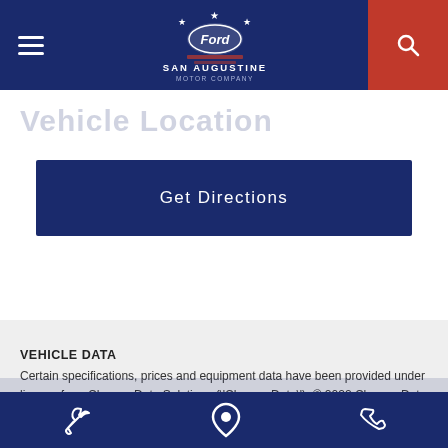San Augustine Motor Company navigation bar
Vehicle Location
Get Directions
VEHICLE DATA
Certain specifications, prices and equipment data have been provided under license from Chrome Data Solutions (\'Chrome Data\'). © 2022 Chrome Data Solutions, LP. All Rights Reserved. This information is supplied for personal use only and may not be used for any commercial purpose without the express written consent of Chrome Da…
Footer icons: wrench, location pin, phone